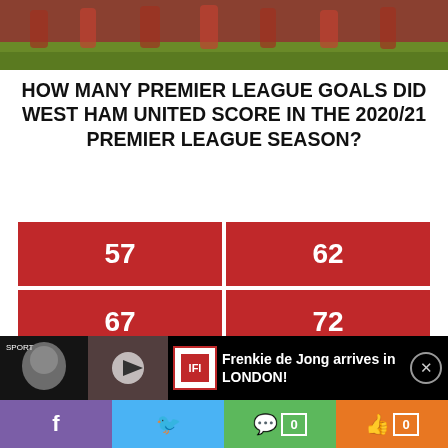[Figure (photo): Football players on a pitch, cropped at top of page]
HOW MANY PREMIER LEAGUE GOALS DID WEST HAM UNITED SCORE IN THE 2020/21 PREMIER LEAGUE SEASON?
| 57 | 62 |
| 67 | 72 |
However, they held on and the victory sees Moyes’ side maintain their position in sixth place, two points ahead of Wolves in seventh and three ahead of Tottenham, although Spurs have two games in hand.
[Figure (screenshot): Ad bar at bottom: Frenkie de Jong arrives in LONDON! with video thumbnail and close button]
Social share bar: Facebook, Twitter, comment 0, like 0